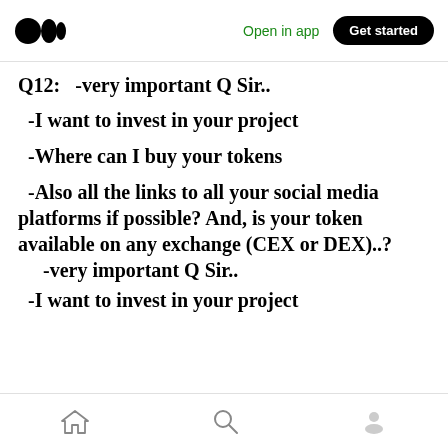Open in app | Get started
Q12:   -very important Q Sir..
-I want to invest in your project
-Where can I buy your tokens
-Also all the links to all your social media platforms if possible? And, is your token available on any exchange (CEX or DEX)..?
-very important Q Sir..
-I want to invest in your project
Home | Search | Profile